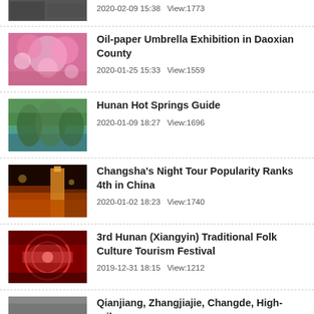2020-02-09 15:38   View:1773
Oil-paper Umbrella Exhibition in Daoxian County
2020-01-25 15:33   View:1559
Hunan Hot Springs Guide
2020-01-09 18:27   View:1696
Changsha's Night Tour Popularity Ranks 4th in China
2020-01-02 18:23   View:1740
3rd Hunan (Xiangyin) Traditional Folk Culture Tourism Festival
2019-12-31 18:15   View:1212
Qianjiang, Zhangjajie, Changde, High-raily...